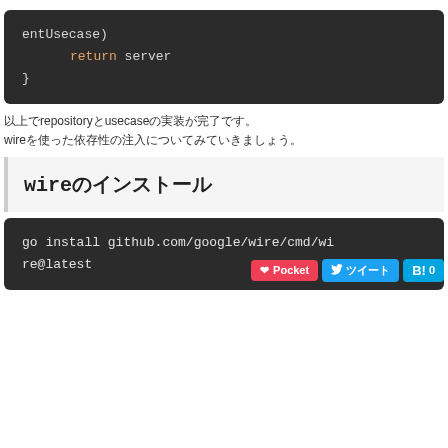[Figure (screenshot): Dark code block showing Go code snippet: 'entUsecase)\n        return server\n}']
以上でrepositoryとusecaseの実装が完了です。
wireを使った依存性の注入についてみていきましょう。
wireのインストール
[Figure (screenshot): Dark code block showing shell command: 'go install github.com/google/wire/cmd/wire@latest']